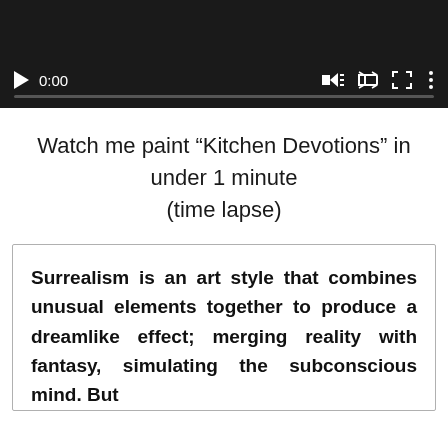[Figure (screenshot): Video player with dark background showing play button, 0:00 timestamp, volume icon, fullscreen icon, and three-dot menu icon, with a progress bar beneath the controls.]
Watch me paint “Kitchen Devotions” in under 1 minute (time lapse)
Surrealism is an art style that combines unusual elements together to produce a dreamlike effect; merging reality with fantasy, simulating the subconscious mind. But